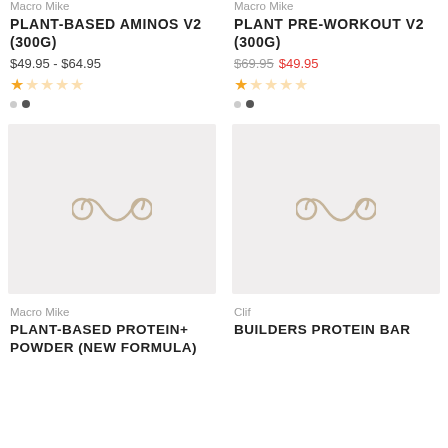Macro Mike
PLANT-BASED AMINOS V2 (300G)
$49.95 - $64.95
Macro Mike
PLANT PRE-WORKOUT V2 (300G)
$69.95  $49.95
[Figure (photo): Product placeholder image with Macro Mike infinity logo on light gray background]
[Figure (photo): Product placeholder image with Macro Mike infinity logo on light gray background]
Macro Mike
PLANT-BASED PROTEIN+ POWDER (NEW FORMULA)
Clif
BUILDERS PROTEIN BAR